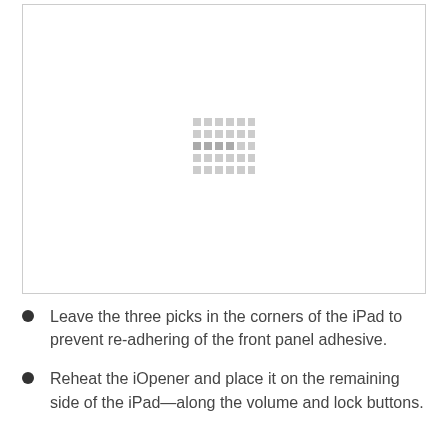[Figure (photo): A photo placeholder showing a grid of grey dots in the center of a white bordered box, representing an image of an iPad repair step.]
Leave the three picks in the corners of the iPad to prevent re-adhering of the front panel adhesive.
Reheat the iOpener and place it on the remaining side of the iPad—along the volume and lock buttons.